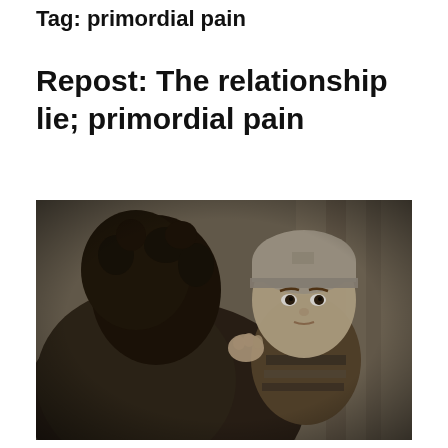Tag: primordial pain
Repost: The relationship lie; primordial pain
[Figure (photo): Black and white photograph of an adult holding a young toddler/baby. The adult is seen from behind with curly dark hair. The child is facing the camera with a serious expression, wearing a knit beanie hat and a striped garment. The background is blurred with dark tones.]